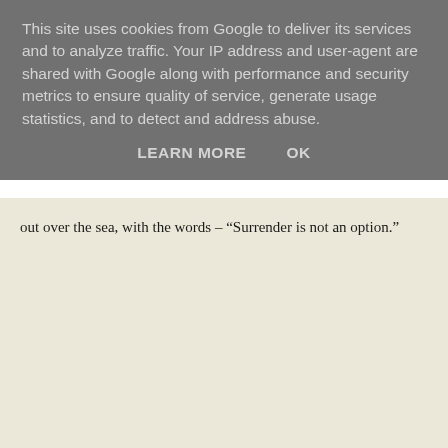This site uses cookies from Google to deliver its services and to analyze traffic. Your IP address and user-agent are shared with Google along with performance and security metrics to ensure quality of service, generate usage statistics, and to detect and address abuse.
LEARN MORE   OK
out over the sea, with the words – “Surrender is not an option.”